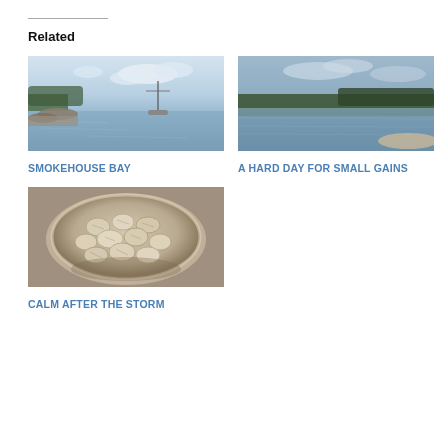Related
[Figure (photo): Photo of a bay with calm water, rocky shoreline, trees and clouds in background - Smokehouse Bay]
SMOKEHOUSE BAY
[Figure (photo): Photo of a lake or reservoir with calm water, forested hills in background, sandy/rocky shore - A Hard Day For Small Gains]
A HARD DAY FOR SMALL GAINS
[Figure (photo): Photo of a bowl filled with small clams/littleneck clams - Calm After The Storm]
CALM AFTER THE STORM